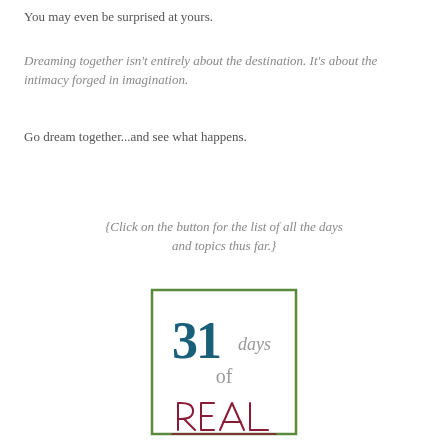You may even be surprised at yours.
Dreaming together isn't entirely about the destination. It's about the intimacy forged in imagination.
Go dream together...and see what happens.
{Click on the button for the list of all the days and topics thus far.}
[Figure (logo): 31 days of REAL logo with '31' in large dark teal serif font, 'days' in smaller gray script, 'of' in gray text, and 'REAL' in handwritten dark red/burgundy style, all inside a green-bordered rectangle]